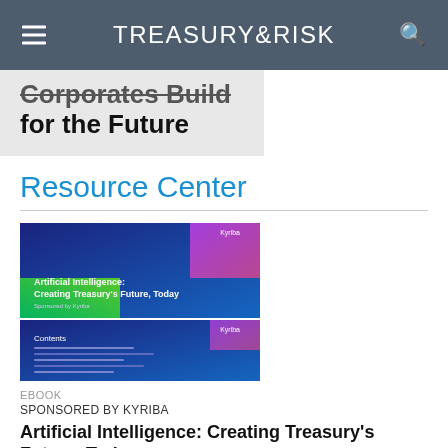TREASURY & RISK
Corporates Build for the Future
Resource Center
[Figure (illustration): Cover image of ebook titled 'Artificial Intelligence: Creating Treasury's Future, Today', with blue gradient background and colored accents, showing a table of contents page below the cover.]
EBOOK
SPONSORED BY KYRIBA
Artificial Intelligence: Creating Treasury's Future, Today
Read More >